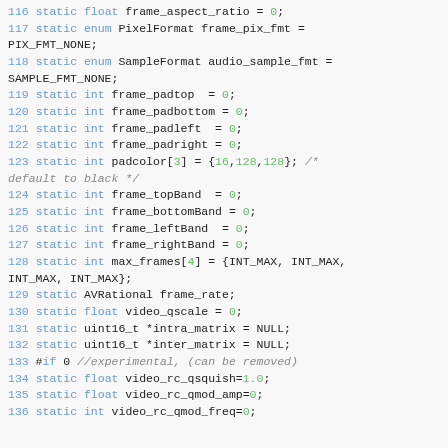Code listing lines 116-136: C static variable declarations for video/audio frame parameters